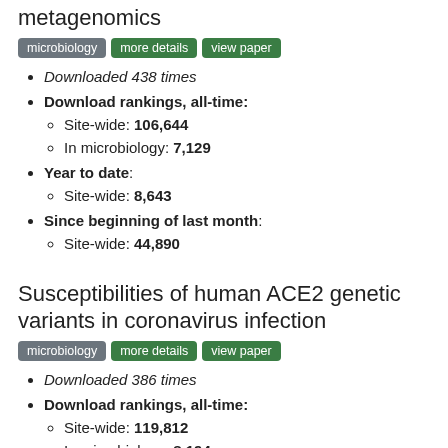metagenomics
microbiology | more details | view paper
Downloaded 438 times
Download rankings, all-time:
Site-wide: 106,644
In microbiology: 7,129
Year to date:
Site-wide: 8,643
Since beginning of last month:
Site-wide: 44,890
Susceptibilities of human ACE2 genetic variants in coronavirus infection
microbiology | more details | view paper
Downloaded 386 times
Download rankings, all-time:
Site-wide: 119,812
In microbiology: 8,194
Year to date: